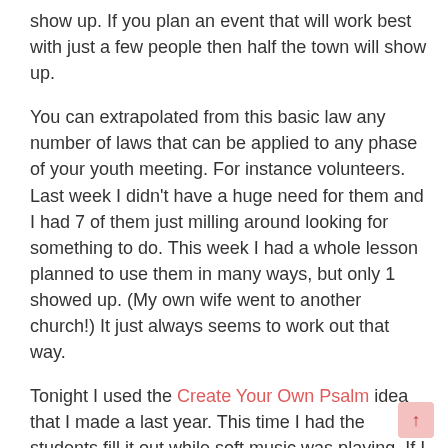show up. If you plan an event that will work best with just a few people then half the town will show up.
You can extrapolated from this basic law any number of laws that can be applied to any phase of your youth meeting. For instance volunteers. Last week I didn't have a huge need for them and I had 7 of them just milling around looking for something to do. This week I had a whole lesson planned to use them in many ways, but only 1 showed up. (My own wife went to another church!) It just always seems to work out that way.
Tonight I used the Create Your Own Psalm idea that I made a last year. This time I had the students fill it out while soft music was playing. If I had planned ahead I would have played loud music instead because I wanted this to be more of an upbeat worship time. I gave them about 5 minutes to fill out the sheet and then I asked them to share their responses with a neighbor.